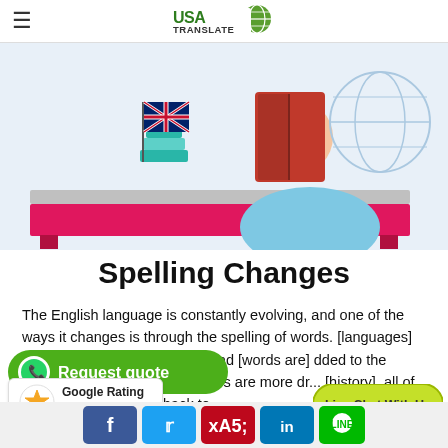≡  USA TRANSLATE
[Figure (illustration): Cartoon of a person reading a red book at a desk with books, a UK flag, and a globe behind them. The desk has a bright pink/magenta front panel.]
Spelling Changes
The English language is constantly evolving, and one of the ways it changes is through the spelling of words. [languages] vary in how they are spelled, and [words are] added to the foreign language. [spelling] changes are more dr[astic]... [history], all of [which] can be traced back to [the origins of]
[Figure (logo): WhatsApp Request quote green button]
[Figure (infographic): Google Rating 5.0 with five gold stars]
[Figure (infographic): Live Chat With Us yellow-green button]
[Figure (infographic): Social media share buttons: Facebook, Twitter, Pinterest, LinkedIn, LINE]